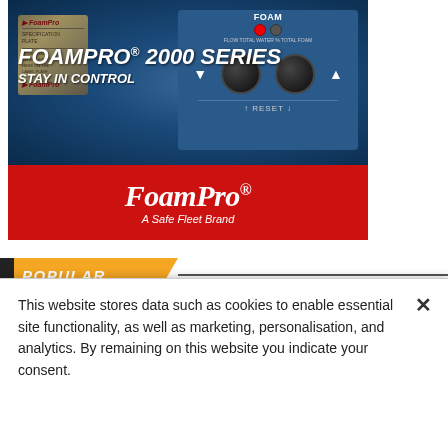[Figure (advertisement): FoamPro 2000 Series advertisement showing a blue control panel device with knobs and RESET button. Text overlay reads 'FOAMPRO 2000 SERIES STAY IN CONTROL'. Bottom red band shows FoamPro logo and 'A Safe Fleet Brand'.]
POPULAR
[Figure (photo): Small blue-toned thumbnail image for a news article]
News
This website stores data such as cookies to enable essential site functionality, as well as marketing, personalisation, and analytics. By remaining on this website you indicate your consent.